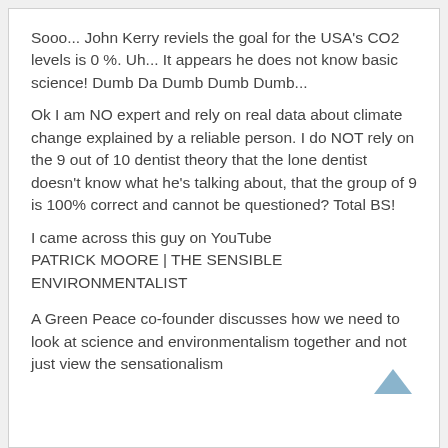Sooo... John Kerry reviels the goal for the USA's CO2 levels is 0 %. Uh... It appears he does not know basic science! Dumb Da Dumb Dumb Dumb...
Ok I am NO expert and rely on real data about climate change explained by a reliable person. I do NOT rely on the 9 out of 10 dentist theory that the lone dentist doesn't know what he's talking about, that the group of 9 is 100% correct and cannot be questioned? Total BS!
I came across this guy on YouTube PATRICK MOORE | THE SENSIBLE ENVIRONMENTALIST
A Green Peace co-founder discusses how we need to look at science and environmentalism together and not just view the sensationalism